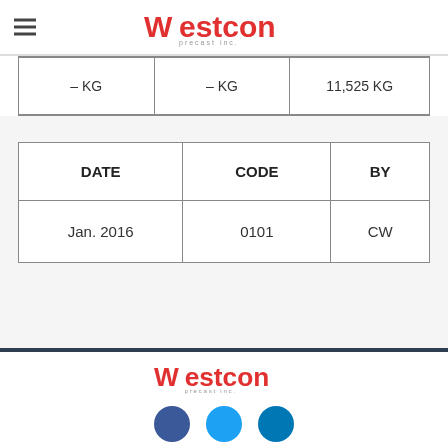Westcon precast inc.
| – KG | – KG | 11,525 KG |
| DATE | CODE | BY |
| --- | --- | --- |
| Jan. 2016 | 0101 | CW |
Westcon precast inc. footer with social icons